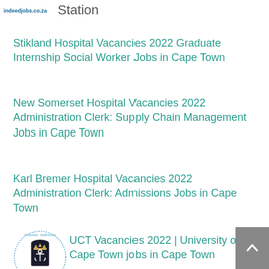indeedjobs.co.za  Station
Stikland Hospital Vacancies 2022 Graduate Internship Social Worker Jobs in Cape Town
New Somerset Hospital Vacancies 2022 Administration Clerk: Supply Chain Management Jobs in Cape Town
Karl Bremer Hospital Vacancies 2022 Administration Clerk: Admissions Jobs in Cape Town
[Figure (logo): UCT University of Cape Town circular crest logo]
UCT Vacancies 2022 | University of Cape Town jobs in Cape Town